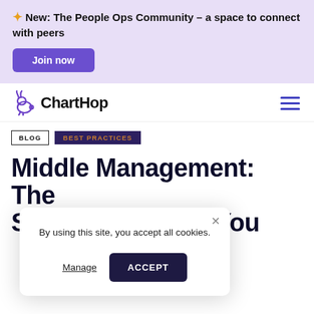✦ New: The People Ops Community – a space to connect with peers
Join now
[Figure (logo): ChartHop logo with stylized animal icon and text 'ChartHop']
BLOG  BEST PRACTICES
Middle Management: The Strategic Partner You
By using this site, you accept all cookies.
Manage  ACCEPT